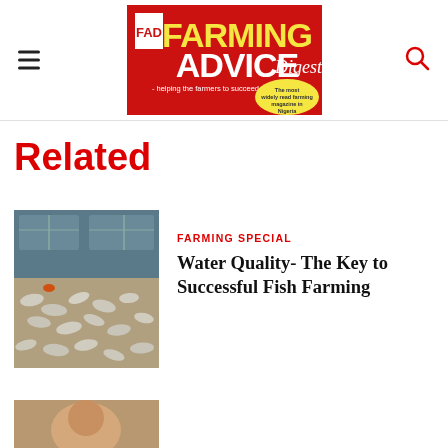FAD Farming Advice Digest - helping the farmers to succeed in farming! The most widely read farming magazine in Nigeria
Related
[Figure (photo): Fish farm with fish pond tanks and harvested fish on ground]
FARMING SPECIAL
Water Quality- The Key to Successful Fish Farming
[Figure (photo): Partial view of another article thumbnail at bottom]